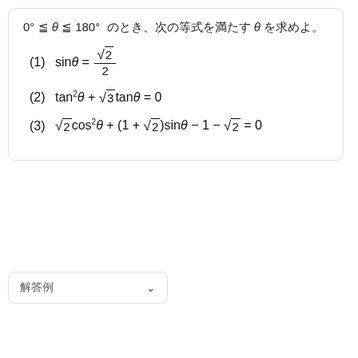0° ≤ θ ≤ 180° のとき、次の等式を満たす θ を求めよ。
解答例 ∨